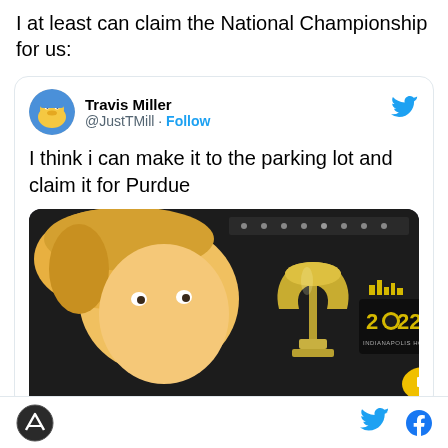I at least can claim the National Championship for us:
[Figure (screenshot): Embedded tweet from @JustTMill (Travis Miller) with text 'I think i can make it to the parking lot and claim it for Purdue' and a photo of a man taking a selfie with the 2022 College Football Playoff National Championship trophy]
Website logo icon, Twitter bird icon, Facebook f icon